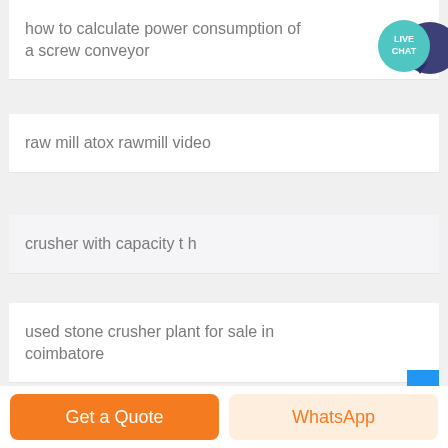how to calculate power consumption of a screw conveyor
raw mill atox rawmill video
crusher with capacity t h
used stone crusher plant for sale in coimbatore
rock crusher saginaw transmission
[Figure (illustration): Live Chat button: teal circular bubble with 'LIVE CHAT' text and speech bubble tail in dark navy]
Get a Quote   WhatsApp